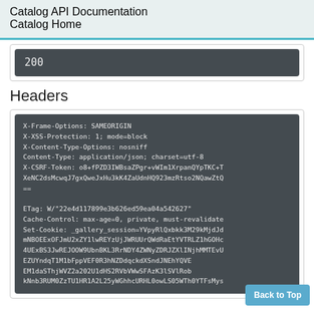Catalog API Documentation
Catalog Home
200
Headers
X-Frame-Options: SAMEORIGIN
X-XSS-Protection: 1; mode=block
X-Content-Type-Options: nosniff
Content-Type: application/json; charset=utf-8
X-CSRF-Token: o8+fPZD3IWBsaZPgr+vWIm1XrpanQYpTKC+TXeNC2dsMcwqJ7gxQweJxHu3kK4ZaUdnHQ923mzRtso2NQawZtQ==
ETag: W/"22e4d117899e3b626ed59ea04a542627"
Cache-Control: max-age=0, private, must-revalidate
Set-Cookie: _gallery_session=YVpyRlQxbkk3M29kMjdJdmNBOEExOFJmU2xZY1lwREYzUjJWRUUrQWdRaEtYVTRLZ1hGOHc4UExBS3JwREJOOW9UbnBKL3RrNDY4ZWNyZDRJZXlINjhMMTEvU EZUYndqT1M1bFppVEF0R3hNZDdqckdXSndJNEhYQVEMldaSThjWVZ2a202U1dHS2RVbVWwSFAzK3lSVlRob2tNnnb3RUM0ZzTU1HR1A2L25yWGhhcURHL0owLS05WTh0YTFsMys
Back to Top